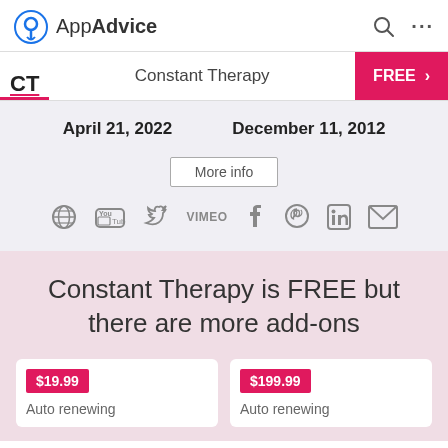AppAdvice
CT  Constant Therapy  FREE >
April 21, 2022   December 11, 2012
More info
[Figure (illustration): Social media icons row: globe, YouTube, Twitter, Vimeo, Facebook, Pinterest, LinkedIn, email]
Constant Therapy is FREE but there are more add-ons
$19.99  Auto renewing
$199.99  Auto renewing